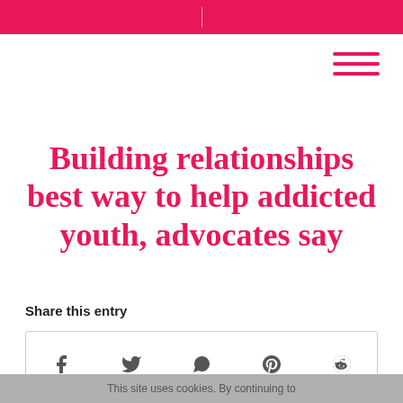Building relationships best way to help addicted youth, advocates say
Share this entry
[Figure (other): Social share buttons row: Facebook, Twitter, WhatsApp, Pinterest, Reddit icons inside a bordered box]
This site uses cookies. By continuing to